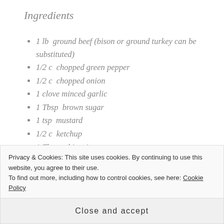Ingredients
1 lb  ground beef (bison or ground turkey can be substituted)
1/2 c  chopped green pepper
1/2 c  chopped onion
1 clove minced garlic
1 Tbsp  brown sugar
1 tsp  mustard
1/2 c  ketchup
1 Tbsp  white vinegar
1 Tbsp  worchestershire sauce
1 8oz can tomato sauce (or, tonight I used leftover
Privacy & Cookies: This site uses cookies. By continuing to use this website, you agree to their use.
To find out more, including how to control cookies, see here: Cookie Policy
Close and accept